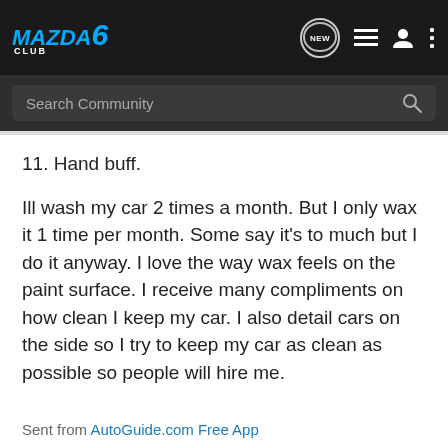[Figure (screenshot): Mazda 6 Club navigation bar with logo, NEW button, list icon, user icon, and three-dot menu]
[Figure (screenshot): Search Community search bar with magnifying glass icon]
11. Hand buff.
Ill wash my car 2 times a month. But I only wax it 1 time per month. Some say it's to much but I do it anyway. I love the way wax feels on the paint surface. I receive many compliments on how clean I keep my car. I also detail cars on the side so I try to keep my car as clean as possible so people will hire me.
Sent from AutoGuide.com Free App